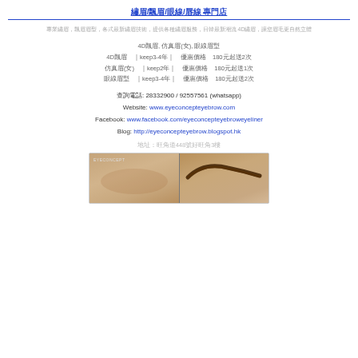繡眉/飄眉/眼線/唇線 專門店
專業繡眉，飄眉眉型，各式最新繡眉技術，提供各種繡眉服務，日韓最新潮流 4D繡眉，讓您眉毛更自然立體
4D飄眉, 仿真眉(女), 眼線眉型
4D飄眉  ｜keep3-4年｜ 優惠價格  180元起送2次
仿真眉(女)  ｜keep2年｜ 優惠價格  180元起送1次
眼線眉型  ｜keep3-4年｜ 優惠價格  180元起送2次
查詢電話: 28332900 / 92557561 (whatsapp)
Website: www.eyeconcepteyebrow.com
Facebook: www.facebook.com/eyeconcepteyebroweyeliner
Blog: http://eyeconcepteyebrow.blogspot.hk
地址：旺角道448號好旺角3樓
[Figure (photo): Before and after eyebrow treatment photos side by side with EYECONCEPT watermark on left photo]